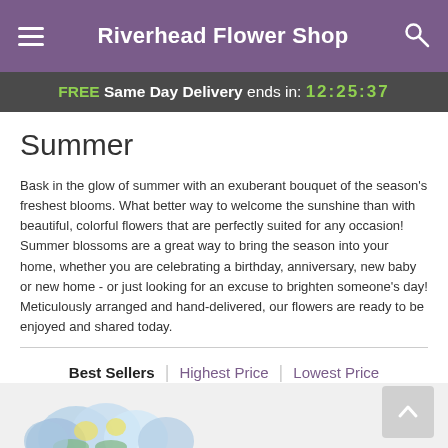Riverhead Flower Shop
FREE Same Day Delivery ends in: 12:25:37
Summer
Bask in the glow of summer with an exuberant bouquet of the season's freshest blooms. What better way to welcome the sunshine than with beautiful, colorful flowers that are perfectly suited for any occasion! Summer blossoms are a great way to bring the season into your home, whether you are celebrating a birthday, anniversary, new baby or new home - or just looking for an excuse to brighten someone's day! Meticulously arranged and hand-delivered, our flowers are ready to be enjoyed and shared today.
Best Sellers | Highest Price | Lowest Price
[Figure (photo): Partial view of a flower bouquet with blue and yellow blooms at the bottom of the page]